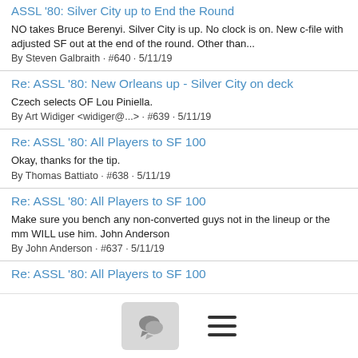ASSL '80: Silver City up to End the Round
NO takes Bruce Berenyi. Silver City is up. No clock is on. New c-file with adjusted SF out at the end of the round. Other than...
By Steven Galbraith · #640 · 5/11/19
Re: ASSL '80: New Orleans up - Silver City on deck
Czech selects OF Lou Piniella.
By Art Widiger <widiger@...> · #639 · 5/11/19
Re: ASSL '80: All Players to SF 100
Okay, thanks for the tip.
By Thomas Battiato · #638 · 5/11/19
Re: ASSL '80: All Players to SF 100
Make sure you bench any non-converted guys not in the lineup or the mm WILL use him. John Anderson
By John Anderson · #637 · 5/11/19
Re: ASSL '80: All Players to SF 100